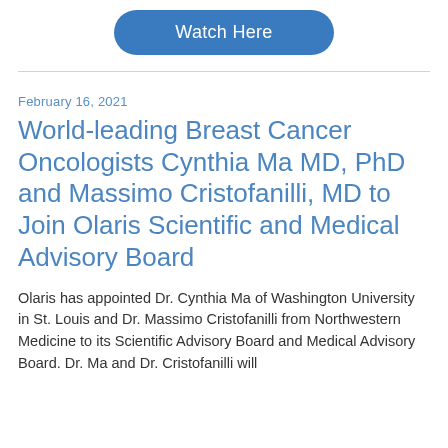[Figure (other): Blue rounded rectangle button with white text 'Watch Here']
February 16, 2021
World-leading Breast Cancer Oncologists Cynthia Ma MD, PhD and Massimo Cristofanilli, MD to Join Olaris Scientific and Medical Advisory Board
Olaris has appointed Dr. Cynthia Ma of Washington University in St. Louis and Dr. Massimo Cristofanilli from Northwestern Medicine to its Scientific Advisory Board and Medical Advisory Board. Dr. Ma and Dr. Cristofanilli will